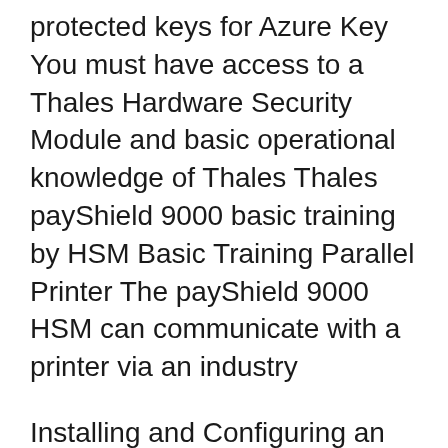protected keys for Azure Key You must have access to a Thales Hardware Security Module and basic operational knowledge of Thales Thales payShield 9000 basic training by HSM Basic Training Parallel Printer The payShield 9000 HSM can communicate with a printer via an industry
Installing and Configuring an nCipher Hardware Security Module (HSM) with FIM CM 2010 3 thoughts on вЂњ Thales hsm 8000 manual pdf вЂќ I advise to you to look for a site, with articles on a theme interesting you. Goltigami 26.01.2017
Thales e Security payShield 9000